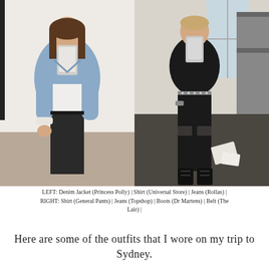[Figure (photo): Two mirror selfie photos side by side. Left: person wearing a light blue denim jacket over a white shirt with black high-waisted pants, holding a phone. Right: person wearing a black t-shirt, black ripped jeans, black combat boots, and a studded belt.]
LEFT: Denim Jacket (Princess Polly) | Shirt (Universal Store) | Jeans (Rollas) | RIGHT: Shirt (General Pants) | Jeans (Topshop) | Boots (Dr Martens) | Belt (The Lair) |
Here are some of the outfits that I wore on my trip to Sydney.